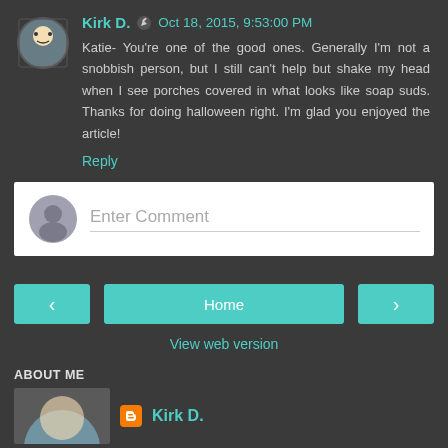Kirk D.  Oct 18, 2015, 9:53:00 PM
Katie- You're one of the good ones. Generally I'm not a snobbish person, but I still can't help but shake my head when I see porches covered in what looks like soap suds. Thanks for doing halloween right. I'm glad you enjoyed the article!
Reply
Enter Comment
Home
View web version
ABOUT ME
Kirk D.